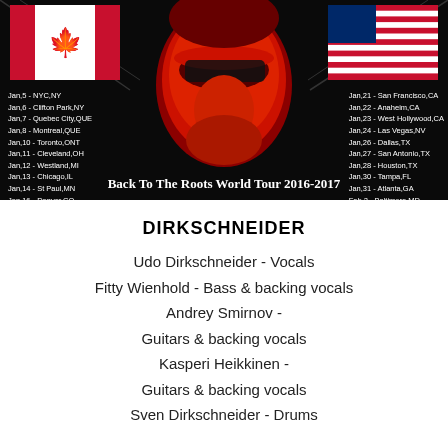[Figure (photo): Concert tour poster for Dirkschneider 'Back To The Roots World Tour 2016-2017'. Dark background with a red-toned face in the center, Canadian flag on the left and US flag on the right. Tour dates listed on both left and right sides. Tour title text at bottom center.]
DIRKSCHNEIDER
Udo Dirkschneider - Vocals
Fitty Wienhold - Bass & backing vocals
Andrey Smirnov - Guitars & backing vocals
Kasperi Heikkinen - Guitars & backing vocals
Sven Dirkschneider - Drums